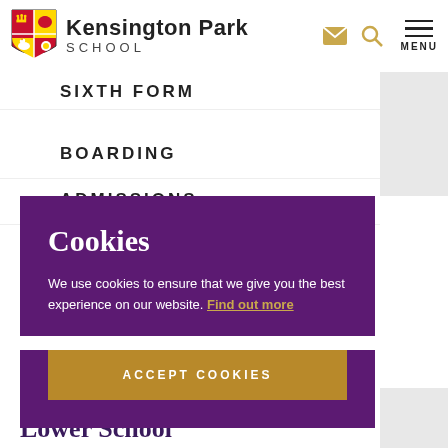Kensington Park SCHOOL
SIXTH FORM (partial)
BOARDING
ADMISSIONS
Cookies
We use cookies to ensure that we give you the best experience on our website. Find out more
ACCEPT COOKIES
Lower School